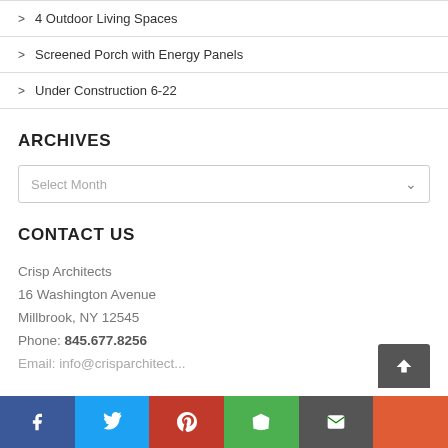4 Outdoor Living Spaces
Screened Porch with Energy Panels
Under Construction 6-22
ARCHIVES
Select Month
CONTACT US
Crisp Architects
16 Washington Avenue
Millbrook, NY 12545
Phone: 845.677.8256
Facebook | Twitter | Pinterest | Houzz | Email | More